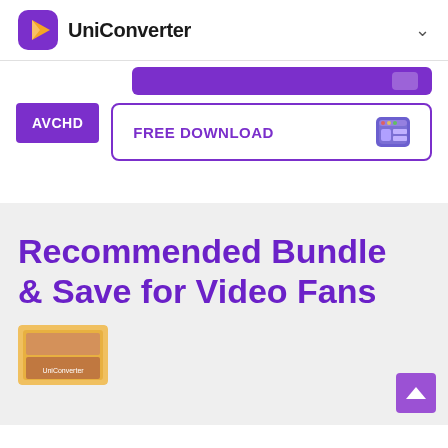UniConverter
AVCHD
[Figure (screenshot): Purple download button (partially visible at top)]
[Figure (screenshot): FREE DOWNLOAD button with macOS Finder icon, outlined purple border]
Recommended Bundle & Save for Video Fans
[Figure (photo): Product box image partially visible at bottom left]
[Figure (other): Scroll-to-top button (purple square with upward arrow) at bottom right]